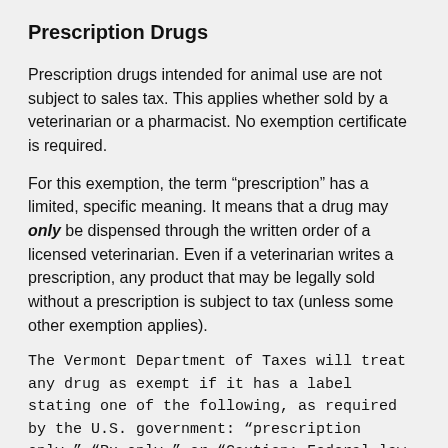Prescription Drugs
Prescription drugs intended for animal use are not subject to sales tax. This applies whether sold by a veterinarian or a pharmacist. No exemption certificate is required.
For this exemption, the term “prescription” has a limited, specific meaning. It means that a drug may only be dispensed through the written order of a licensed veterinarian. Even if a veterinarian writes a prescription, any product that may be legally sold without a prescription is subject to tax (unless some other exemption applies).
The Vermont Department of Taxes will treat any drug as exempt if it has a label stating one of the following, as required by the U.S. government: “prescription only,” “Rx only,” or “Caution: Federal law restricts this drug to use by or on the order of a licensed veterinarian.” See 21 U.S.C. § 353(b), (f); 21 C.F.R. § 201.105.